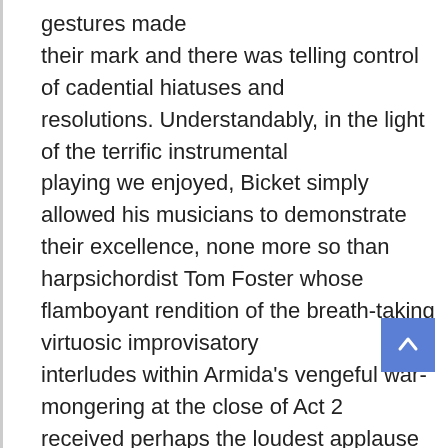gestures made their mark and there was telling control of cadential hiatuses and resolutions. Understandably, in the light of the terrific instrumental playing we enjoyed, Bicket simply allowed his musicians to demonstrate their excellence, none more so than harpsichordist Tom Foster whose flamboyant rendition of the breath-taking virtuosic improvisatory interludes within Armida's vengeful war-mongering at the close of Act 2 received perhaps the loudest applause of the evening.
In rejecting what he saw as the childish absurdities of that first production of Rinaldo, Addison did allow that an opera